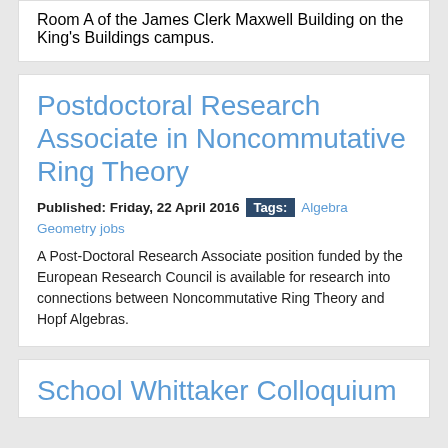Room A of the James Clerk Maxwell Building on the King's Buildings campus.
Postdoctoral Research Associate in Noncommutative Ring Theory
Published: Friday, 22 April 2016   Tags: Algebra Geometry jobs
A Post-Doctoral Research Associate position funded by the European Research Council is available for research into connections between Noncommutative Ring Theory and Hopf Algebras.
School Whittaker Colloquium